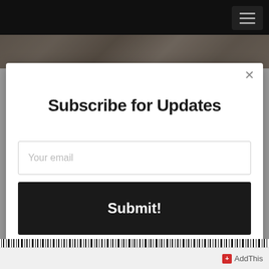The Autism Dad Podcast
Caring For The Caregivers (feat. Eileen Silverberg) S3E24
Subscribe for Updates
Your email
Submit!
AddThis